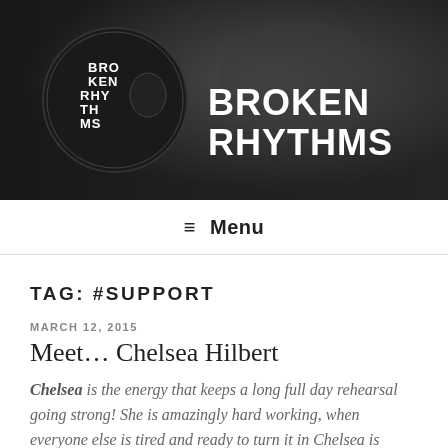[Figure (photo): Broken Rhythms website header banner with dark background showing dancers performing on stage stools, with circular Broken Rhythms logo on left and bold white text 'BROKEN RHYTHMS' on right]
≡ Menu
TAG: #SUPPORT
MARCH 12, 2015
Meet… Chelsea Hilbert
Chelsea is the energy that keeps a long full day rehearsal going strong! She is amazingly hard working, when everyone else is tired and ready to turn it in Chelsea is ready to run the